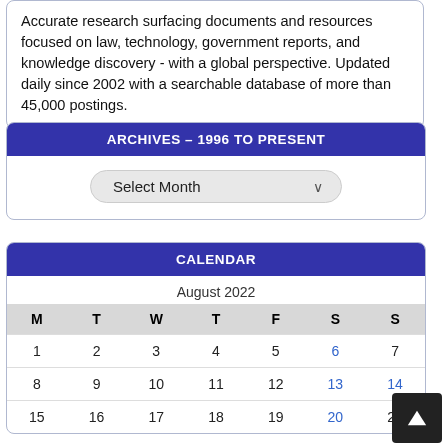Accurate research surfacing documents and resources focused on law, technology, government reports, and knowledge discovery - with a global perspective. Updated daily since 2002 with a searchable database of more than 45,000 postings.
ARCHIVES – 1996 TO PRESENT
Select Month
CALENDAR
| M | T | W | T | F | S | S |
| --- | --- | --- | --- | --- | --- | --- |
| 1 | 2 | 3 | 4 | 5 | 6 | 7 |
| 8 | 9 | 10 | 11 | 12 | 13 | 14 |
| 15 | 16 | 17 | 18 | 19 | 20 | 21 |